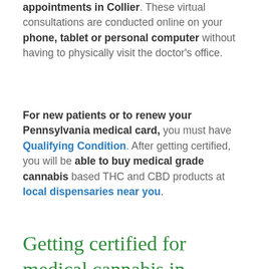appointments in Collier. These virtual consultations are conducted online on your phone, tablet or personal computer without having to physically visit the doctor's office.
For new patients or to renew your Pennsylvania medical card, you must have Qualifying Condition. After getting certified, you will be able to buy medical grade cannabis based THC and CBD products at local dispensaries near you.
Getting certified for medical cannabis in Collier
To get started, simply fill out the form below and press submit. Then complete the patient intake process, and